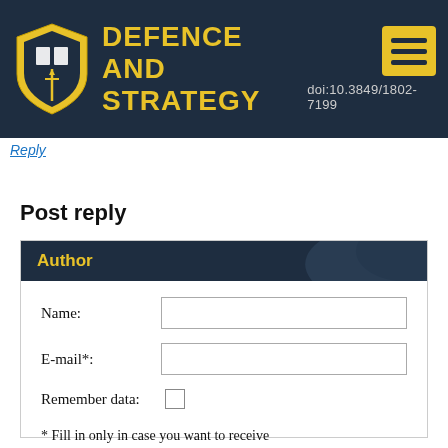DEFENCE AND STRATEGY doi:10.3849/1802-7199
Reply
Post reply
Author
Name:
E-mail*:
Remember data:
* Fill in only in case you want to receive contributions from the discussion